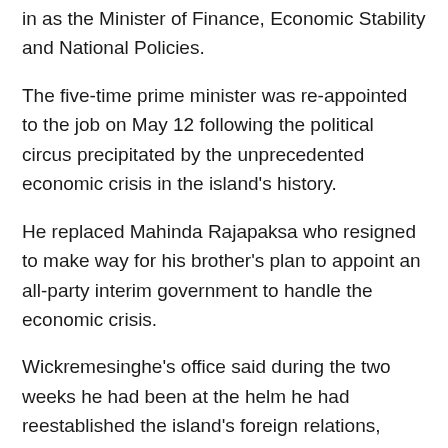in as the Minister of Finance, Economic Stability and National Policies.
The five-time prime minister was re-appointed to the job on May 12 following the political circus precipitated by the unprecedented economic crisis in the island's history.
He replaced Mahinda Rajapaksa who resigned to make way for his brother's plan to appoint an all-party interim government to handle the economic crisis.
Wickremesinghe's office said during the two weeks he had been at the helm he had reestablished the island's foreign relations, taken steps for constitutional reform with the draft of the 21 amendments to the constitution, ensured fuel supplies and has been making